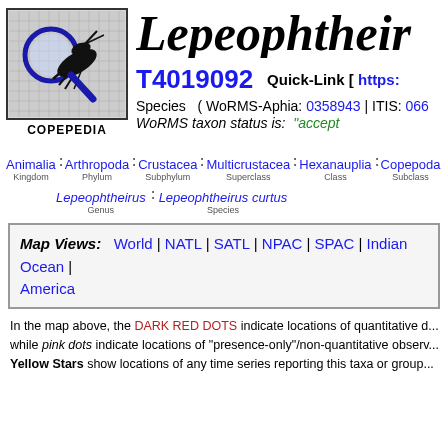[Figure (logo): Copepedia logo: magnifying glass over a copepod silhouette on a grid background]
COPEPEDIA
Lepeophtheir...
T4019092   Quick-Link [ https:...
Species  ( WoRMS-Aphia: 0358943 | ITIS: 066... WoRMS taxon status is: "accept..."
Animalia : Arthropoda : Crustacea : Multicrustacea : Hexanauplia : Copepoda... Kingdom  Phylum  Subphylum  Superclass  Class  Subclass
Lepeophtheirus : Lepeophtheirus curtus Genus  Species
Map Views: World | NATL | SATL | NPAC | SPAC | Indian Ocean | ... America
In the map above, the DARK RED DOTS indicate locations of quantitative d... while pink dots indicate locations of "presence-only"/non-quantitative observ... Yellow Stars show locations of any time series reporting this taxa or group...